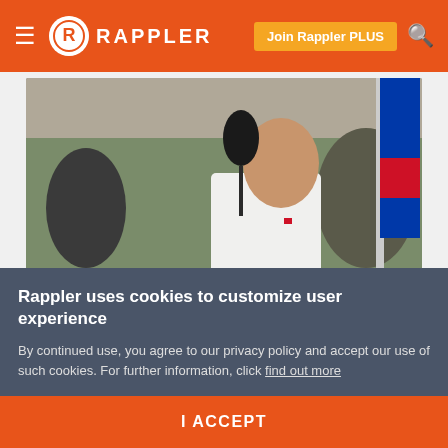RAPPLER — Join Rappler PLUS
[Figure (photo): A man in a white shirt speaking at a podium with the Philippine presidential seal (Opisina ng Pangulo ng Pilipinas). Microphone in foreground, flags visible in background.]
Sara Duterte spurns Alvarez peace offer, says Cayetano made 'veiled threat'
Rappler uses cookies to customize user experience
By continued use, you agree to our privacy policy and accept our use of such cookies. For further information, click find out more
I ACCEPT